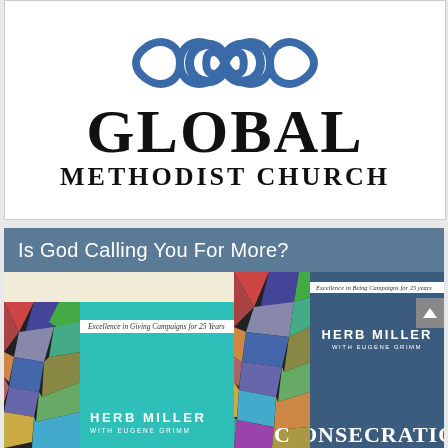[Figure (logo): Global Methodist Church logo with infinity symbol and text]
Is God Calling You For More?
[Figure (photo): Photo of two books by Herb Miller with Eugene Grimm — one teal and one navy blue, titled Consecration, with stained glass imagery and text Excellence in Giving Campaigns for 25 Years]